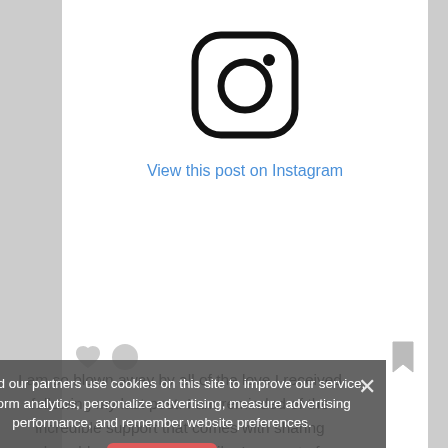[Figure (logo): Instagram logo — rounded square outline with a circle in the center and a small dot in the upper right]
View this post on Instagram
[Figure (other): Instagram post engagement icons: heart (like), circle (comment), and bookmark icon on the right]
We and our partners use cookies on this site to improve our service, perform analytics, personalize advertising, measure advertising performance, and remember website preferences.
OK
I am so blown away by all of the love I received following my last post. I am reminded of the incredible support that comes with sharing vulnerable moments. I feel like I am part of a beautiful tribe – we are all in this together. Thank you for helping me to feel normal. For sharing your stories. They gave me great comfort. This